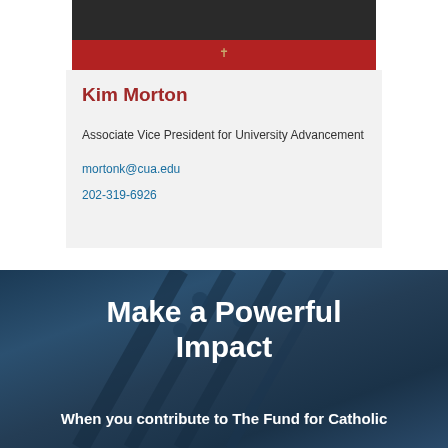[Figure (photo): Photo of Kim Morton, partially visible showing top of head, dark background, wearing red top with gold cross necklace]
Kim Morton
Associate Vice President for University Advancement
mortonk@cua.edu
202-319-6926
[Figure (photo): Dark blue toned background image of what appears to be a guitar headstock with tuning pegs, overlaid with text]
Make a Powerful Impact
When you contribute to The Fund for Catholic